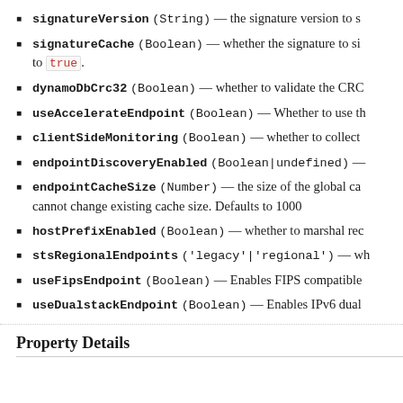signatureVersion (String) — the signature version to s
signatureCache (Boolean) — whether the signature to si to true.
dynamoDbCrc32 (Boolean) — whether to validate the CRC
useAccelerateEndpoint (Boolean) — Whether to use th
clientSideMonitoring (Boolean) — whether to collect
endpointDiscoveryEnabled (Boolean|undefined) —
endpointCacheSize (Number) — the size of the global ca cannot change existing cache size. Defaults to 1000
hostPrefixEnabled (Boolean) — whether to marshal rec
stsRegionalEndpoints ('legacy'|'regional') — wh
useFipsEndpoint (Boolean) — Enables FIPS compatible
useDualstackEndpoint (Boolean) — Enables IPv6 dual
Property Details